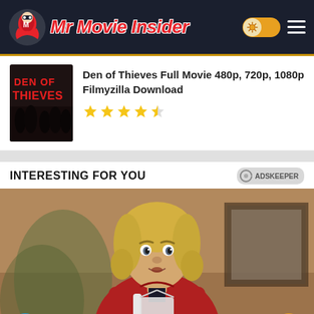[Figure (logo): Mr Movie Insider website header with logo, toggle button and hamburger menu on dark navy background]
[Figure (photo): Den of Thieves movie poster thumbnail showing group of people]
Den of Thieves Full Movie 480p, 720p, 1080p Filmyzilla Download
[Figure (other): 4.5 star rating shown with gold stars]
INTERESTING FOR YOU
[Figure (photo): Man with blonde hair wearing red shirt and white apron looking surprised, indoor background]
Join for New Movies